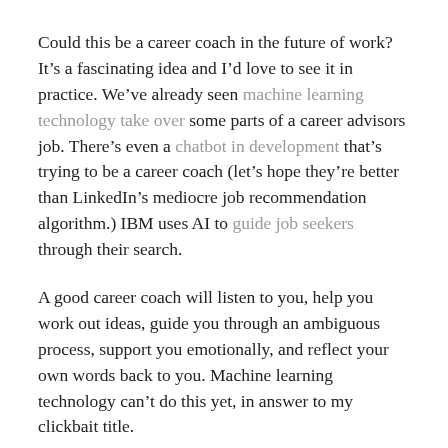Could this be a career coach in the future of work? It's a fascinating idea and I'd love to see it in practice. We've already seen machine learning technology take over some parts of a career advisors job. There's even a chatbot in development that's trying to be a career coach (let's hope they're better than LinkedIn's mediocre job recommendation algorithm.) IBM uses AI to guide job seekers through their search.
A good career coach will listen to you, help you work out ideas, guide you through an ambiguous process, support you emotionally, and reflect your own words back to you. Machine learning technology can't do this yet, in answer to my clickbait title.
But there aren't enough good career coaches to go